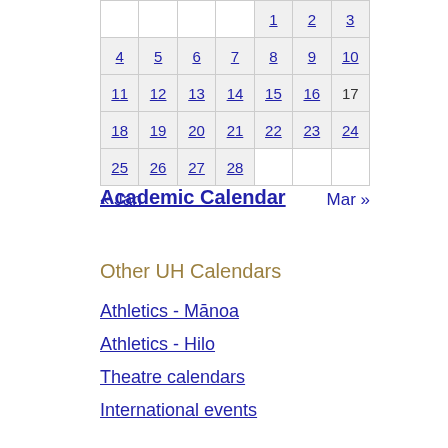| Sun | Mon | Tue | Wed | Thu | Fri | Sat |
| --- | --- | --- | --- | --- | --- | --- |
|  |  |  |  | 1 | 2 | 3 |
| 4 | 5 | 6 | 7 | 8 | 9 | 10 |
| 11 | 12 | 13 | 14 | 15 | 16 | 17 |
| 18 | 19 | 20 | 21 | 22 | 23 | 24 |
| 25 | 26 | 27 | 28 |  |  |  |
« Jan    Mar »
Academic Calendar
Other UH Calendars
Athletics - Mānoa
Athletics - Hilo
Theatre calendars
International events